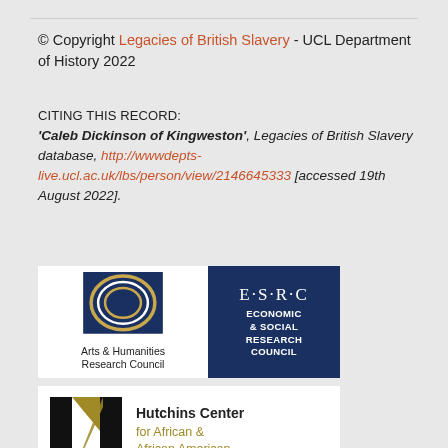© Copyright Legacies of British Slavery - UCL Department of History 2022
CITING THIS RECORD:
'Caleb Dickinson of Kingweston', Legacies of British Slavery database, http://wwwdepts-live.ucl.ac.uk/lbs/person/view/2146645333 [accessed 19th August 2022].
[Figure (logo): Arts & Humanities Research Council logo with circular navy and gold design]
[Figure (logo): ESRC Economic & Social Research Council logo on navy background]
[Figure (logo): Hutchins Center for African & African American Research logo with H lettermark]